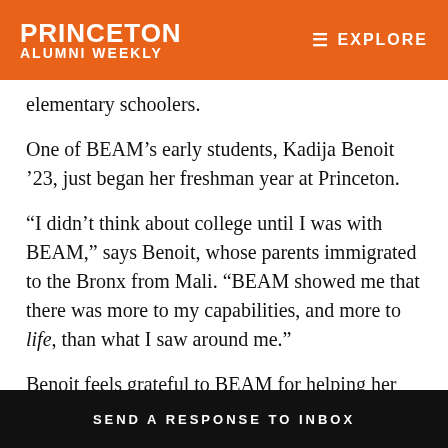PRINCETON ALUMNI WEEKLY  EXPLORE
elementary schoolers.
One of BEAM’s early students, Kadija Benoit ’23, just began her freshman year at Princeton.
“I didn’t think about college until I was with BEAM,” says Benoit, whose parents immigrated to the Bronx from Mali. “BEAM showed me that there was more to my capabilities, and more to life, than what I saw around me.”
Benoit feels grateful to BEAM for helping her explore her passion for STEM without placing a financial burden on
SEND A RESPONSE TO INBOX